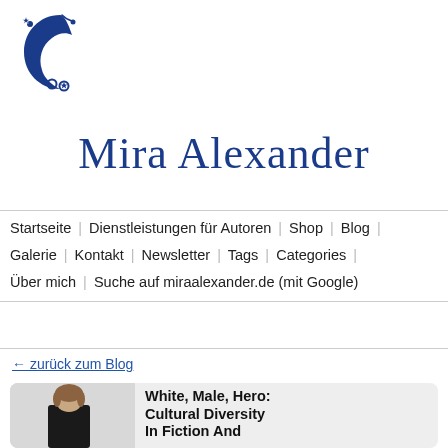[Figure (logo): Mira Alexander website logo: blue crescent moon shape with stars]
Mira Alexander
Startseite | Dienstleistungen für Autoren | Shop | Blog | Galerie | Kontakt | Newsletter | Tags | Categories | Über mich | Suche auf miraalexander.de (mit Google)
← zurück zum Blog
[Figure (photo): Person seen from behind wearing black top, with brown hair]
White, Male, Hero: Cultural Diversity In Fiction And